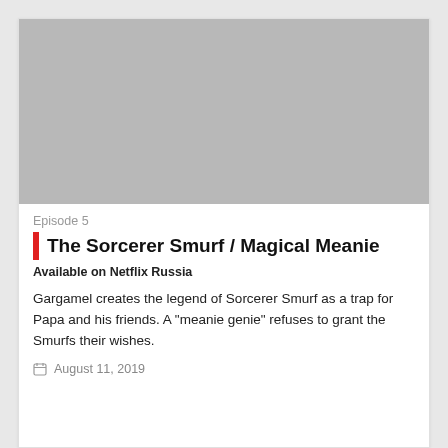[Figure (photo): Gray placeholder thumbnail image for the episode]
Episode 5
The Sorcerer Smurf / Magical Meanie
Available on Netflix Russia
Gargamel creates the legend of Sorcerer Smurf as a trap for Papa and his friends. A "meanie genie" refuses to grant the Smurfs their wishes.
August 11, 2019